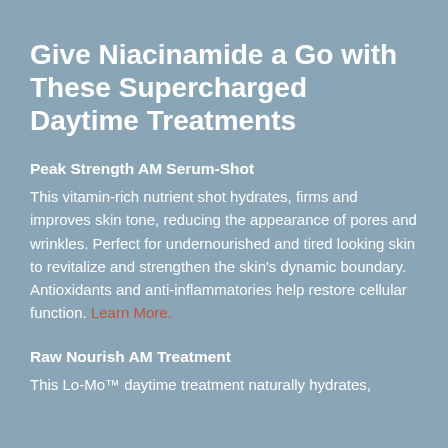Give Niacinamide a Go with These Supercharged Daytime Treatments
Peak Strength AM Serum-Shot
This vitamin-rich nutrient shot hydrates, firms and improves skin tone, reducing the appearance of pores and wrinkles. Perfect for undernourished and tired looking skin to revitalize and strengthen the skin's dynamic boundary. Antioxidants and anti-inflammatories help restore cellular function. Learn More.
Raw Nourish AM Treatment
This Lo-Mo™ daytime treatment naturally hydrates,